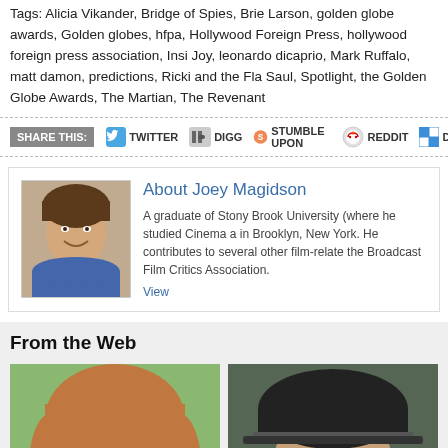Tags: Alicia Vikander, Bridge of Spies, Brie Larson, golden globe awards, Golden globes, hfpa, Hollywood Foreign Press, hollywood foreign press association, Inside Joy, leonardo dicaprio, Mark Ruffalo, matt damon, predictions, Ricki and the Flash, Saul, Spotlight, the Golden Globe Awards, The Martian, The Revenant
SHARE THIS: TWITTER DIGG STUMBLE UPON REDDIT DELI
About Joey Magidson
A graduate of Stony Brook University (where he studied Cinema and...) in Brooklyn, New York. He contributes to several other film-related... the Broadcast Film Critics Association. View...
From the Web
[Figure (photo): Two portrait photos side by side under 'From the Web' section]